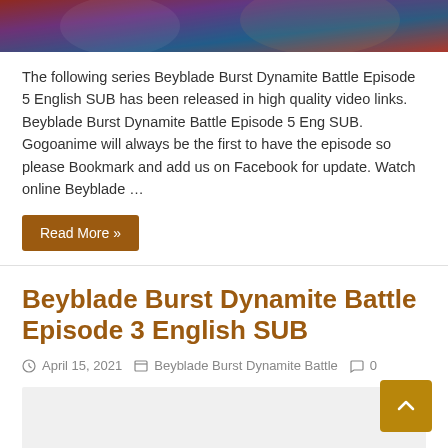[Figure (photo): Top partial image strip showing anime/cartoon characters from Beyblade Burst Dynamite Battle]
The following series Beyblade Burst Dynamite Battle Episode 5 English SUB has been released in high quality video links. Beyblade Burst Dynamite Battle Episode 5 Eng SUB. Gogoanime will always be the first to have the episode so please Bookmark and add us on Facebook for update. Watch online Beyblade …
Read More »
Beyblade Burst Dynamite Battle Episode 3 English SUB
April 15, 2021   Beyblade Burst Dynamite Battle   0
[Figure (photo): Thumbnail image area for Beyblade Burst Dynamite Battle Episode 3, light grey placeholder]